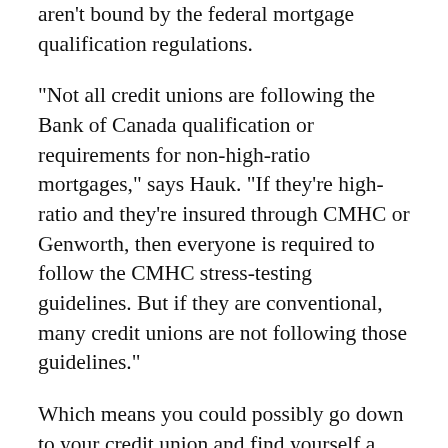aren't bound by the federal mortgage qualification regulations.
“Not all credit unions are following the Bank of Canada qualification or requirements for non-high-ratio mortgages,” says Hauk. “If they’re high-ratio and they’re insured through CMHC or Genworth, then everyone is required to follow the CMHC stress-testing guidelines. But if they are conventional, many credit unions are not following those guidelines.”
Which means you could possibly go down to your credit union and find yourself a rate that’s almost two-per-cent lower than the five-year benchmark rate — and find yourself more house for your money. Like a bank, it may help to have a solid preexisting